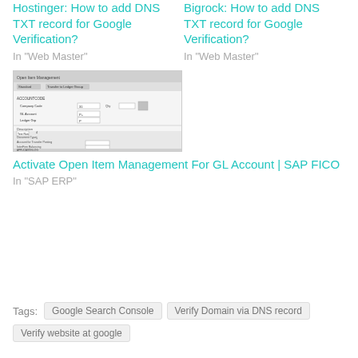Hostinger: How to add DNS TXT record for Google Verification?
In "Web Master"
Bigrock: How to add DNS TXT record for Google Verification?
In "Web Master"
[Figure (screenshot): Screenshot of SAP FICO Open Item Management form showing Company Code, GL Account, and additional fields]
Activate Open Item Management For GL Account | SAP FICO
In "SAP ERP"
Tags:  Google Search Console  Verify Domain via DNS record  Verify website at google